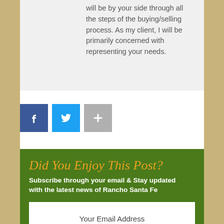will be by your side through all the steps of the buying/selling process. As my client, I will be primarily concerned with representing your needs.
[Figure (infographic): Three social share buttons: Facebook (blue square with f icon), Twitter (light blue square with bird icon), and a gray square with plus sign]
Did You Enjoy This Post?
Subscribe through your email & Stay updated with the latest news of Rancho Santa Fe
Your Email Address